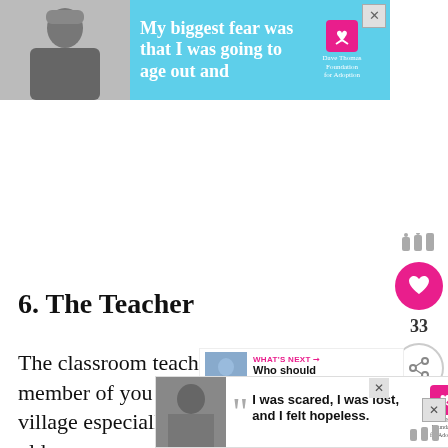[Figure (screenshot): Top advertisement banner with aqua/teal background showing a black and white photo of a person in winter hat, quote text 'My biggest fear was that I was going to age out and', and Dave Thomas Foundation for Adoption logo]
6. The Teacher
The classroom teacher is a crucial member of your village especially when your child is older... your child reaches school age, they are spending
[Figure (screenshot): What's Next panel showing a thumbnail image with pink arrow label 'WHAT'S NEXT' and text 'Who should be in the...']
[Figure (screenshot): Bottom advertisement banner showing a woman's black and white photo, quote 'I was scared, I was lost, and I felt hopeless.' with Dave Thomas Foundation for Adoption logo and close button]